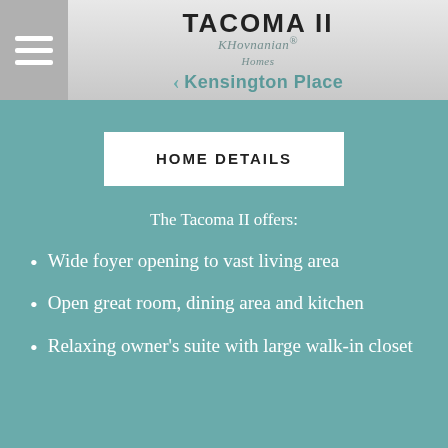TACOMA II | K. Hovnanian Homes | < Kensington Place
HOME DETAILS
The Tacoma II offers:
Wide foyer opening to vast living area
Open great room, dining area and kitchen
Relaxing owner's suite with large walk-in closet